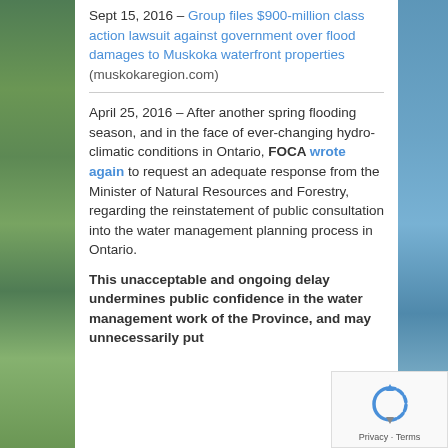Sept 15, 2016 – Group files $900-million class action lawsuit against government over flood damages to Muskoka waterfront properties (muskokaregion.com)
April 25, 2016 – After another spring flooding season, and in the face of ever-changing hydro-climatic conditions in Ontario, FOCA wrote again to request an adequate response from the Minister of Natural Resources and Forestry, regarding the reinstatement of public consultation into the water management planning process in Ontario.
This unacceptable and ongoing delay undermines public confidence in the water management work of the Province, and may unnecessarily put